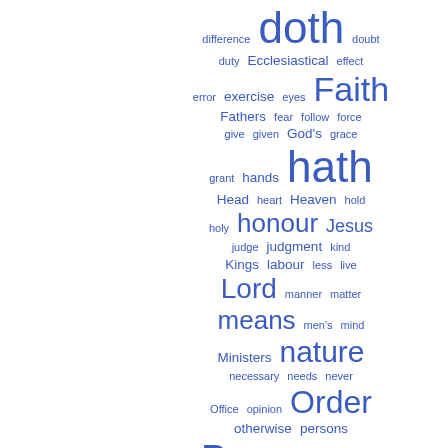[Figure (other): A word cloud showing index terms in blue, with words sized proportionally to their frequency. Words include: difference, doth, doubt, duty, Ecclesiastical, effect, error, exercise, eyes, Faith, Fathers, fear, follow, force, give, given, God's, grace, grant, hands, hath, Head, heart, Heaven, hold, holy, honour, Jesus, judge, judgment, kind, Kings, labour, less, live, Lord, manner, matter, means, men's, mind, Ministers, nature, necessary, needs, never, Office, opinion, Order, otherwise, persons, Power, Presbyters, present, Priests, Prophet]